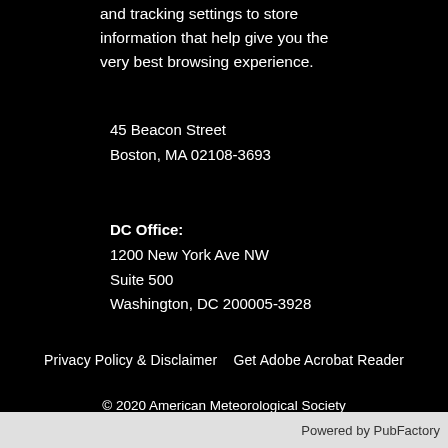and tracking settings to store information that help give you the very best browsing experience.
45 Beacon Street
Boston, MA 02108-3693
DC Office:
1200 New York Ave NW
Suite 500
Washington, DC 200005-3928
Privacy Policy & Disclaimer    Get Adobe Acrobat Reader
© 2020 American Meteorological Society
Powered by PubFactory